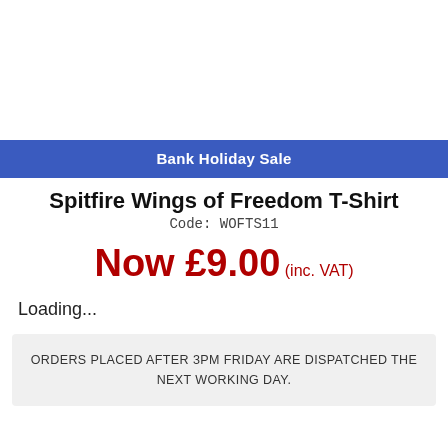Bank Holiday Sale
Spitfire Wings of Freedom T-Shirt
Code: WOFTS11
Now £9.00 (inc. VAT)
Loading...
ORDERS PLACED AFTER 3PM FRIDAY ARE DISPATCHED THE NEXT WORKING DAY.